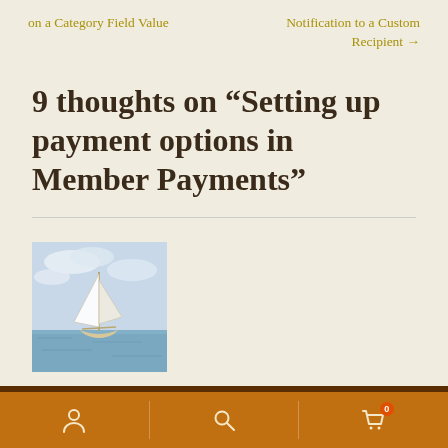on a Category Field Value
Notification to a Custom Recipient →
9 thoughts on “Setting up payment options in Member Payments”
[Figure (photo): Small thumbnail photo of a sailboat on calm water with cloudy sky]
David Metcalfe